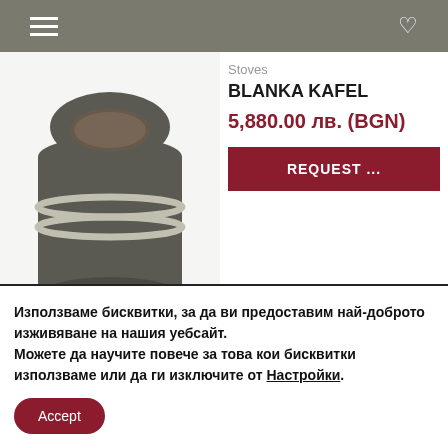Navigation bar with hamburger menu and heart/wishlist icon
[Figure (photo): A dark grey cylindrical wood-burning stove with chrome/silver band rings around the middle, photographed from the front side angle.]
Stoves
BLANKA KAFEL
5,880.00 лв. (BGN)
REQUEST ...
Woodburning Stoves
6194-44 ORENSE
4,730.00 лв. (BGN)
Използваме бисквитки, за да ви предоставим най-доброто изживяване на нашия уебсайт.
Можете да научите повече за това кои бисквитки използваме или да ги изключите от Настройки.
Accept